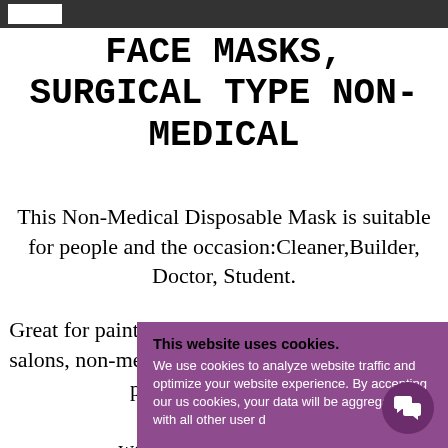FACE MASKS, SURGICAL TYPE NON-MEDICAL
This Non-Medical Disposable Mask is suitable for people and the occasion:Cleaner,Builder, Doctor, Student.
Great for painting, construction, nail salons, non-medical, dental uses and people w... weath... weather,Flu... wea...
This website uses cookies. We use cookies to analyze website traffic and optimize your website experience. By accepting our us cookies, your data will be aggregated with all other user d...